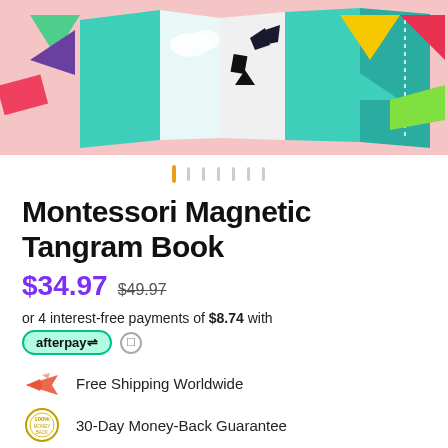[Figure (photo): Product photo of Montessori Magnetic Tangram Book showing colorful geometric tangram pieces (triangles, squares in teal, pink, yellow, green, purple, red) arranged around an open accordion-style book on a pink background]
Montessori Magnetic Tangram Book
$34.97 $49.97
or 4 interest-free payments of $8.74 with
afterpay
Free Shipping Worldwide
30-Day Money-Back Guarantee